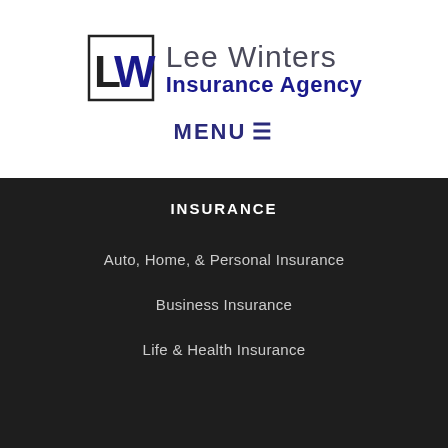[Figure (logo): Lee Winters Insurance Agency logo with LW initials in a box and company name text]
MENU ☰
INSURANCE
Auto, Home, & Personal Insurance
Business Insurance
Life & Health Insurance